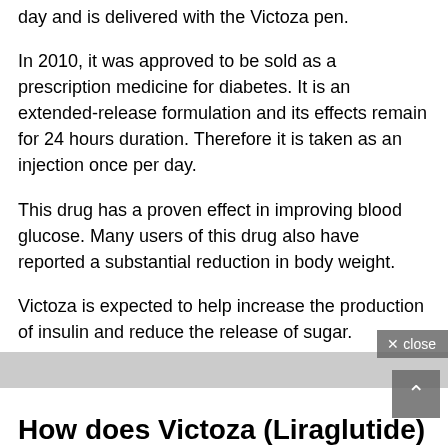day and is delivered with the Victoza pen.
In 2010, it was approved to be sold as a prescription medicine for diabetes. It is an extended-release formulation and its effects remain for 24 hours duration. Therefore it is taken as an injection once per day.
This drug has a proven effect in improving blood glucose. Many users of this drug also have reported a substantial reduction in body weight.
Victoza is expected to help increase the production of insulin and reduce the release of sugar.
How does Victoza (Liraglutide)